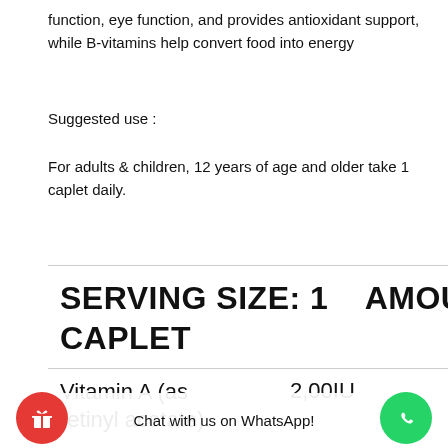function, eye function, and provides antioxidant support, while B-vitamins help convert food into energy
Suggested use :
For adults & children, 12 years of age and older take 1 caplet daily.
SERVING SIZE: 1    AMOUNT/SERVING CAPLET
Vitamin A (as          2,00IU retinyl acetate)
Chat with us on WhatsApp!